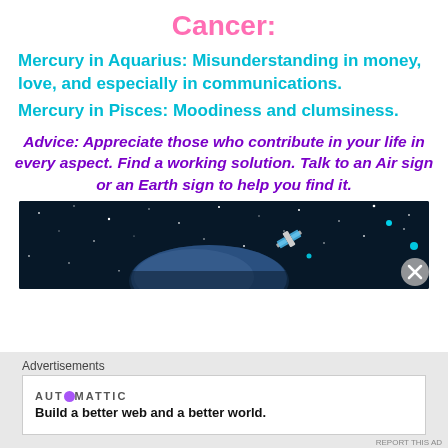Cancer:
Mercury in Aquarius: Misunderstanding in money, love, and especially in communications.
Mercury in Pisces: Moodiness and clumsiness.
Advice: Appreciate those who contribute in your life in every aspect. Find a working solution. Talk to an Air sign or an Earth sign to help you find it.
[Figure (photo): Space scene with stars, a planet or moon, and a satellite against a dark blue background.]
Advertisements
AUTOMATTIC
Build a better web and a better world.